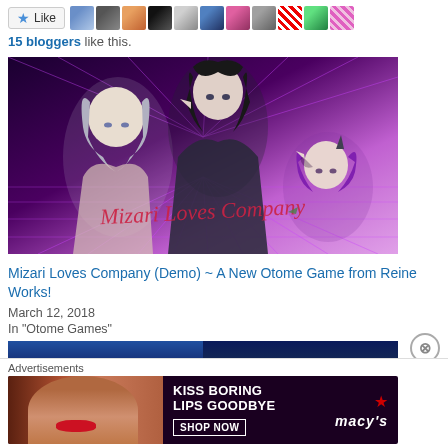[Figure (screenshot): Like button with star icon, followed by a row of small avatar thumbnail images of bloggers]
15 bloggers like this.
[Figure (illustration): Anime-style promotional image for 'Mizari Loves Company' game. Three anime characters on a purple neon grid background with the game title in stylized script. Characters include a silver-haired elf male, a black-haired male, and a purple-haired female with horns.]
Mizari Loves Company (Demo) ~ A New Otome Game from Reine Works!
March 12, 2018
In "Otome Games"
[Figure (screenshot): Partial view of two more blog post thumbnail images at the bottom of the page, dark blue tones]
Advertisements
[Figure (screenshot): Macy's advertisement banner: 'KISS BORING LIPS GOODBYE' with SHOP NOW button and Macy's star logo, featuring a woman with red lips]